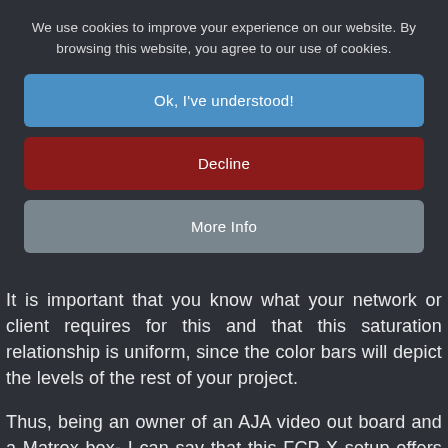We use cookies to improve your experience on our website. By browsing this website, you agree to our use of cookies.
Ok, I've understood!
Decline
More Info
It is important that you know what your network or client requires for this and that this saturation relationship is uniform, since the color bars will depict the levels of the rest of your project.
Thus, being an owner of an AJA video out board and a Matrox box- I can say that this FCP X setup offers the same quality of setup for monitoring HD 700 A...